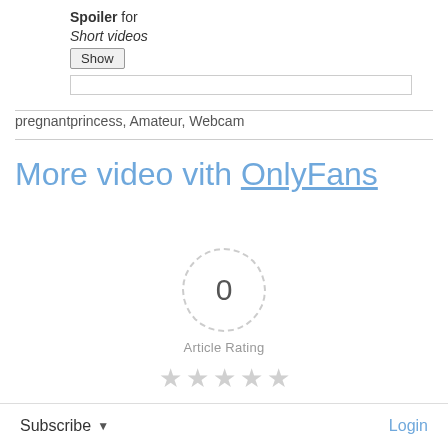Spoiler for Short videos [Show button]
pregnantprincess, Amateur, Webcam
More video vith OnlyFans
[Figure (other): Dashed circle with number 0 in center, Article Rating text below, 5 empty stars below that]
Subscribe ▾
Login